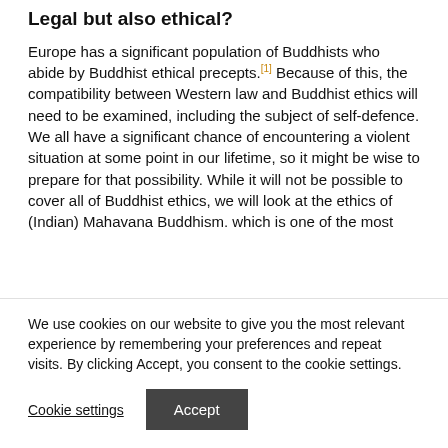Legal but also ethical?
Europe has a significant population of Buddhists who abide by Buddhist ethical precepts.[1] Because of this, the compatibility between Western law and Buddhist ethics will need to be examined, including the subject of self-defence. We all have a significant chance of encountering a violent situation at some point in our lifetime, so it might be wise to prepare for that possibility. While it will not be possible to cover all of Buddhist ethics, we will look at the ethics of (Indian) Mahavana Buddhism. which is one of the most
We use cookies on our website to give you the most relevant experience by remembering your preferences and repeat visits. By clicking Accept, you consent to the cookie settings.